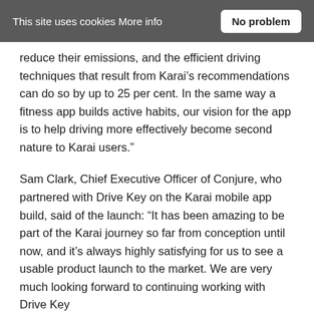This site uses cookies More info  No problem
reduce their emissions, and the efficient driving techniques that result from Karai’s recommendations can do so by up to 25 per cent. In the same way a fitness app builds active habits, our vision for the app is to help driving more effectively become second nature to Karai users.”
Sam Clark, Chief Executive Officer of Conjure, who partnered with Drive Key on the Karai mobile app build, said of the launch: “It has been amazing to be part of the Karai journey so far from conception until now, and it’s always highly satisfying for us to see a usable product launch to the market. We are very much looking forward to continuing working with Drive Key